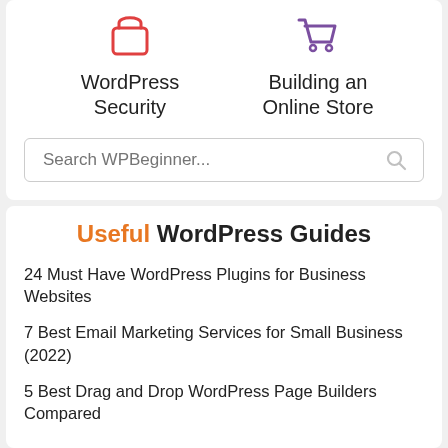[Figure (illustration): Red lock/security icon for WordPress Security]
WordPress Security
[Figure (illustration): Purple shopping cart icon for Building an Online Store]
Building an Online Store
[Figure (screenshot): Search box with placeholder text 'Search WPBeginner...' and a search magnifier icon]
Useful WordPress Guides
24 Must Have WordPress Plugins for Business Websites
7 Best Email Marketing Services for Small Business (2022)
5 Best Drag and Drop WordPress Page Builders Compared